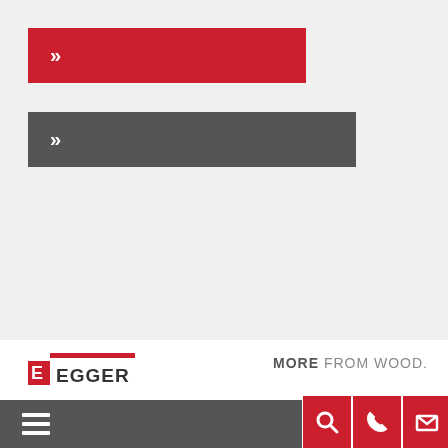[Figure (infographic): Red banner bar with white double chevron (») on left side]
[Figure (infographic): Gray banner bar with white double chevron (») on left side]
[Figure (logo): EGGER logo with red E symbol and red horizontal line above company name]
MORE FROM WOOD.
[Figure (infographic): Navigation bar UI: dark gray strip with hamburger menu icon on left, red icon buttons (search, phone, envelope) on right, shown in two rows]
[Figure (infographic): Second row of red icon buttons: search magnifier, phone handset, envelope/mail icons]